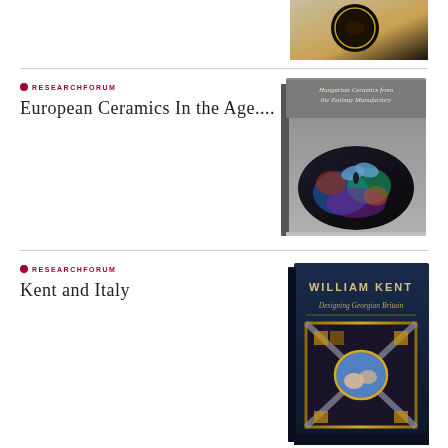[Figure (photo): Partial view of a book cover at the top of the page, showing a dark background with circular decorative element]
[Figure (photo): Book cover: Hungarian Ceramics from the Zsolnay Manufactory, showing a dark iridescent ceramic bowl with colorful butterfly and floral decorations on a grey background]
RESEARCHFORUM
European Ceramics In the Age....
RESEARCHFORUM
Kent and Italy
[Figure (photo): Book cover: William Kent Designing Georgian Britain, showing an ornate ceiling or floor design with geometric patterns and a central painted medallion with figures, on a dark blue background]